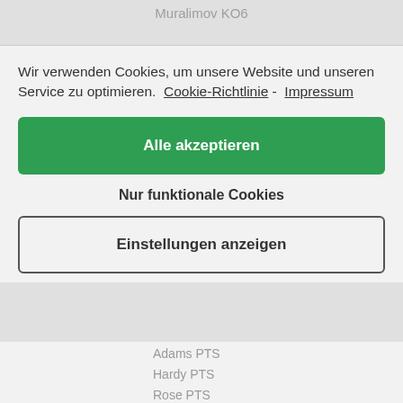Muralimov KO6
Wir verwenden Cookies, um unsere Website und unseren Service zu optimieren.  Cookie-Richtlinie -  Impressum
Alle akzeptieren
Nur funktionale Cookies
Einstellungen anzeigen
Adams PTS
Hardy PTS
Rose PTS
Eharme PTS